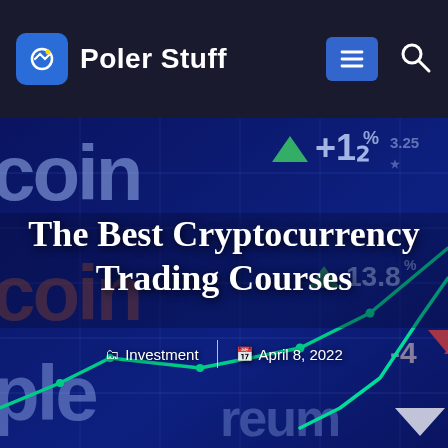Poler Stuff
[Figure (screenshot): Hero image showing cryptocurrency stock market data display with trading chart lines (green upward trend), ticker symbols, percentage indicators (+1.2%, +13.8%, -4), and partial text overlays reading 'coin', 'coin', 'ple' in large blue/dark red letters on a dark blue background.]
The Best Cryptocurrency Trading Courses
Investment | April 8, 2022